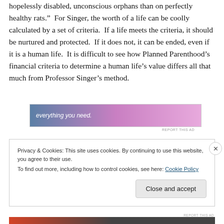hopelessly disabled, unconscious orphans than on perfectly healthy rats.”  For Singer, the worth of a life can be coolly calculated by a set of criteria.  If a life meets the criteria, it should be nurtured and protected.  If it does not, it can be ended, even if it is a human life.  It is difficult to see how Planned Parenthood’s financial criteria to determine a human life’s value differs all that much from Professor Singer’s method.
[Figure (other): Advertisement banner with text 'everything you need.' on a gradient blue-to-pink background]
Privacy & Cookies: This site uses cookies. By continuing to use this website, you agree to their use.
To find out more, including how to control cookies, see here: Cookie Policy
Close and accept